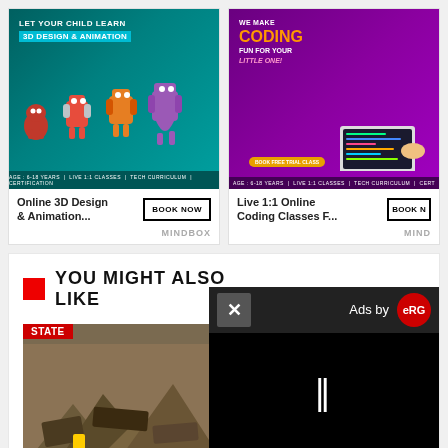[Figure (illustration): Ad card for Online 3D Design & Animation course showing animated robot characters on teal background with text 'LET YOUR CHILD LEARN 3D DESIGN & ANIMATION'. Bottom shows age range and course details. BOOK NOW button.]
Online 3D Design & Animation...
BOOK NOW
MINDBOX
[Figure (illustration): Ad card for Live 1:1 Online Coding Classes showing a child using laptop on purple background with text 'WE MAKE CODING FUN FOR YOUR LITTLE ONE!'. BOOK NOW button (partially cropped).]
Live 1:1 Online Coding Classes F...
BOOK N
MIND
YOU MIGHT ALSO LIKE
[Figure (photo): News photo showing rubble/debris from a building collapse or disaster scene with STATE badge overlay]
[Figure (photo): News photo showing people in outdoor scene with STATE badge overlay, partially obscured by video ad overlay]
[Figure (other): Video ad overlay with X close button, 'Ads by ERG' logo, black video player area with pause button (two vertical bars)]